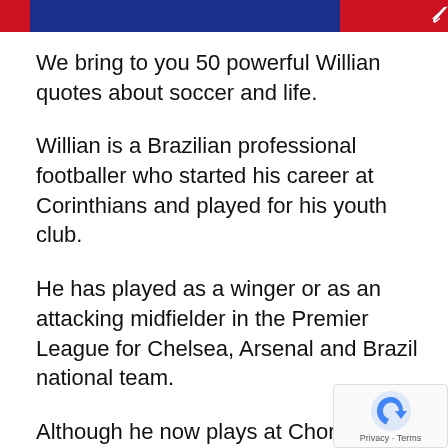We bring to you 50 powerful Willian quotes about soccer and life.
Willian is a Brazilian professional footballer who started his career at Corinthians and played for his youth club.
He has played as a winger or as an attacking midfielder in the Premier League for Chelsea, Arsenal and Brazil national team.
Although he now plays at Chorinthians Paulista, Willian won the Premier League twice and the League Cup once with Chelsea and therefore was named Chelsea Player of the and Chelsea Players' Player of the Year for the 2015/16